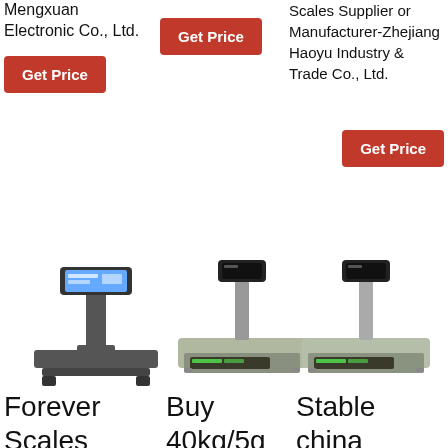Mengxuan Electronic Co., Ltd.
[Figure (other): Red 'Get Price' button (top center)]
Scales Supplier or Manufacturer-Zhejiang Haoyu Industry & Trade Co., Ltd.
[Figure (other): Red 'Get Price' button (top left)]
[Figure (other): Red 'Get Price' button (top right)]
[Figure (photo): Platform scale with tall pole and display screen - Forever Scales]
[Figure (photo): Bench scale with short pole and digital display - Buy 40kg/5g]
[Figure (photo): Bench scale with short pole and digital display - Stable china]
Forever Scales
Buy 40kg/5g
Stable china